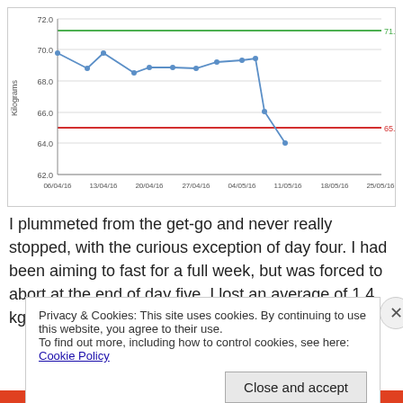[Figure (line-chart): Weight over time (Kilograms)]
I plummeted from the get-go and never really stopped, with the curious exception of day four. I had been aiming to fast for a full week, but was forced to abort at the end of day five. I lost an average of 1.4 kg every day, lots of
Privacy & Cookies: This site uses cookies. By continuing to use this website, you agree to their use.
To find out more, including how to control cookies, see here: Cookie Policy
Close and accept